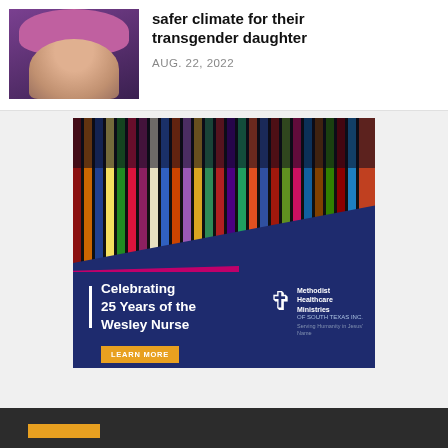[Figure (photo): Photo of a person with pink/magenta hair against a purple background]
safer climate for their transgender daughter
AUG. 22, 2022
[Figure (illustration): Advertisement: Stained glass church windows image with diagonal navy blue overlay. Text reads 'Celebrating 25 Years of the Wesley Nurse' with a 'LEARN MORE' button and Methodist Healthcare Ministries of South Texas Inc. logo]